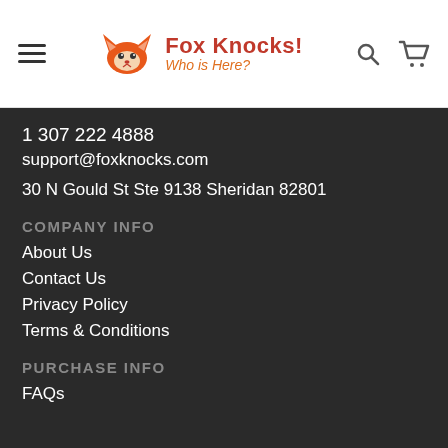Fox Knocks! Who is Here?
1 307 222 4888
support@foxknocks.com
30 N Gould St Ste 9138 Sheridan 82801
COMPANY INFO
About Us
Contact Us
Privacy Policy
Terms & Conditions
PURCHASE INFO
FAQs